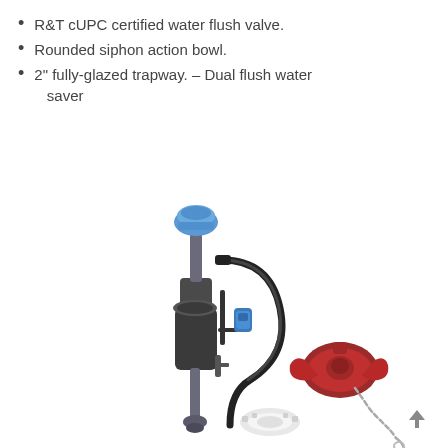R&T cUPC certified water flush valve.
Rounded siphon action bowl.
2" fully-glazed trapway. – Dual flush water saver
[Figure (photo): Toilet fill valve assembly (dark gray/black body with blue top cap and blue sensor attachment, flexible hose), a red flapper valve with chain, and a white plastic nut/ring — toilet tank hardware components displayed on white background.]